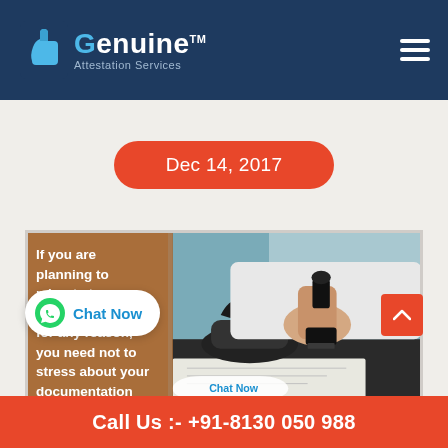Genuine Attestation Services
Dec 14, 2017
[Figure (photo): A person in a white shirt pressing a rubber stamp onto a document on a desk, with a telephone visible in the background. The left portion has a brownish transparent overlay with text: 'If you are planning to migrate to other country for any reason, you need not to stress about your documentation ... to serve you']
Call Us :- +91-8130 050 988